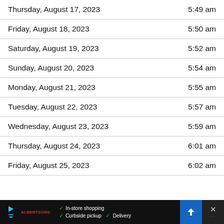| Date | Time |
| --- | --- |
| Thursday, August 17, 2023 | 5:49 am |
| Friday, August 18, 2023 | 5:50 am |
| Saturday, August 19, 2023 | 5:52 am |
| Sunday, August 20, 2023 | 5:54 am |
| Monday, August 21, 2023 | 5:55 am |
| Tuesday, August 22, 2023 | 5:57 am |
| Wednesday, August 23, 2023 | 5:59 am |
| Thursday, August 24, 2023 | 6:01 am |
| Friday, August 25, 2023 | 6:02 am |
[Figure (screenshot): Advertisement banner with Albertsons logo, checkmarks for In-store shopping, Curbside pickup, Delivery, a navigation arrow icon, and a close/weather icon.]